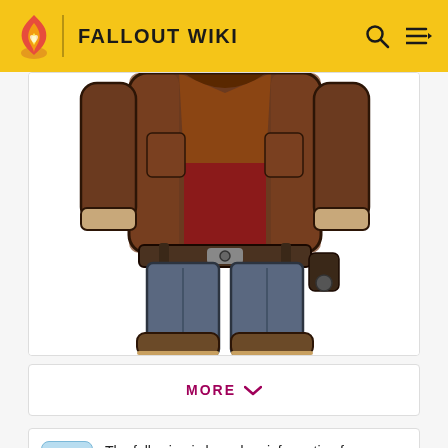FALLOUT WIKI
[Figure (illustration): Partial view of a Fallout Shelter game character showing torso and legs in post-apocalyptic clothing: brown leather jacket, red shirt, blue/grey pants, utility belt, and worn boots.]
MORE
The following is based on information from Fallout Shelter or Fallout Shelter Online.
“That booty can’t stay hidden forever...”— In-game description